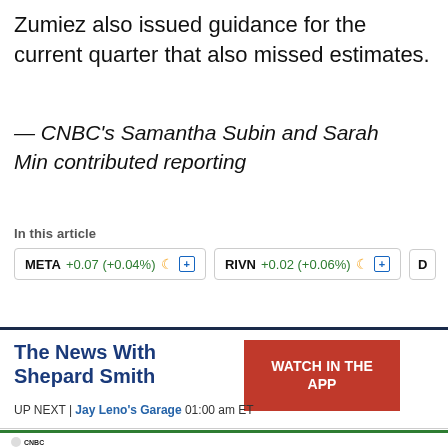Zumiez also issued guidance for the current quarter that also missed estimates.
— CNBC's Samantha Subin and Sarah Min contributed reporting
In this article
[Figure (other): Stock ticker pills showing META +0.07 (+0.04%), RIVN +0.02 (+0.06%), and a partially visible third ticker, each with moon icon and plus button]
The News With Shepard Smith
UP NEXT | Jay Leno's Garage 01:00 am ET
[Figure (logo): CNBC logo and social media icons (Facebook, Twitter, LinkedIn, Email)]